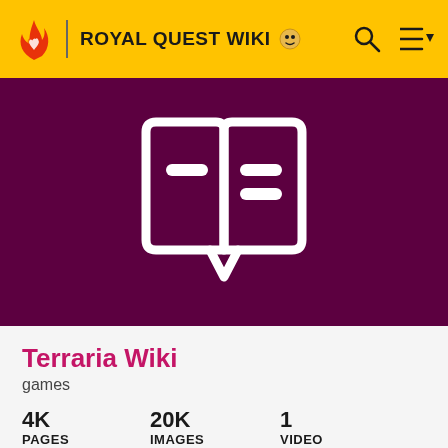ROYAL QUEST WIKI
[Figure (logo): Open book wiki logo icon on dark purple background]
Terraria Wiki
games
4K PAGES   20K IMAGES   1 VIDEO
The Terraria Wiki is a comprehensive resource containing information about all versions of Re-Logic's action-adventure sandbox game, Terraria.